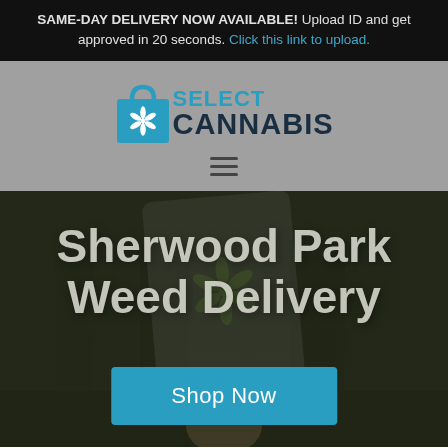SAME-DAY DELIVERY NOW AVAILABLE! Upload ID and get approved in 20 seconds. Click this link to upload.
[Figure (logo): Select Cannabis logo: blue shopping bag with cannabis leaf icon, text 'SELECT CANNABIS' in blue/dark navy]
[Figure (other): Hamburger menu icon (three horizontal lines)]
Sherwood Park Weed Delivery
Shop Now